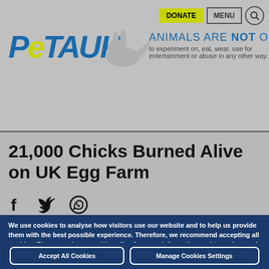PETA UK — ANIMALS ARE NOT OURS to experiment on, eat, wear, use for entertainment or abuse in any other way.
21,000 Chicks Burned Alive on UK Egg Farm
[Figure (other): Social media share icons: Facebook, Twitter, WhatsApp]
We use cookies to analyse how visitors use our website and to help us provide them with the best possible experience. Therefore, we recommend accepting all cookies. Please read our cookie policy for more information and to understand how this may affect you..
Accept All Cookies
Manage Cookies Settings